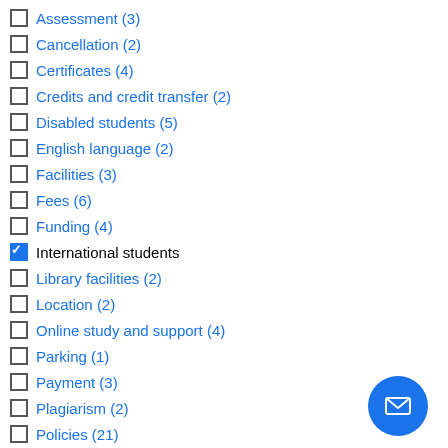Assessment (3)
Cancellation (2)
Certificates (4)
Credits and credit transfer (2)
Disabled students (5)
English language (2)
Facilities (3)
Fees (6)
Funding (4)
International students [checked]
Library facilities (2)
Location (2)
Online study and support (4)
Parking (1)
Payment (3)
Plagiarism (2)
Policies (21)
Qualifications (6)
References (2)